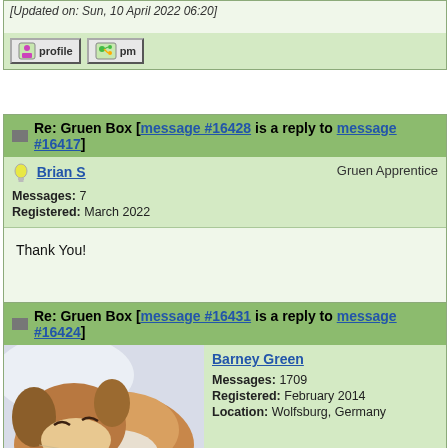[Updated on: Sun, 10 April 2022 06:20]
[Figure (screenshot): Profile and PM action buttons]
Re: Gruen Box [message #16428 is a reply to message #16417]
Brian S
Gruen Apprentice
Messages: 7
Registered: March 2022
Thank You!
[Figure (screenshot): Profile and PM action buttons]
Re: Gruen Box [message #16431 is a reply to message #16424]
[Figure (photo): A sleeping puppy (brown and white dog) resting its head on a surface]
Barney Green
Messages: 1709
Registered: February 2014
Location: Wolfsburg, Germany